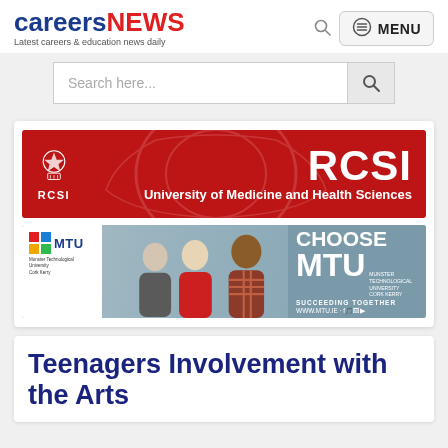careersNEWS – Latest careers & education news daily
[Figure (screenshot): Search bar with placeholder text 'Search here...' and a search button]
[Figure (illustration): RCSI University of Medicine and Health Sciences advertisement banner – red background with crest logo and white text]
[Figure (illustration): MTU (Munster Technological University) advertisement banner – students photo with 'CHOOSE MTU SUCCEEDING TOGETHER' text and www.mtu.ie]
Teenagers Involvement with the Arts